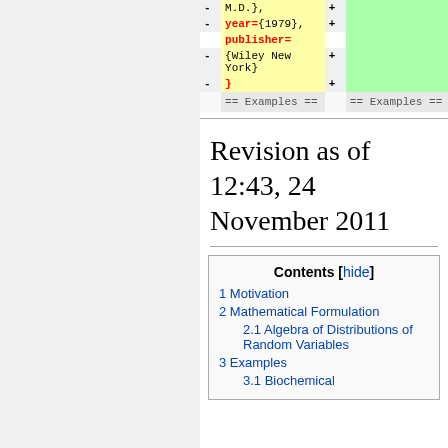[Figure (screenshot): Wikipedia diff view showing removed lines (yellow background) and added lines (green background) with code content including year={1979}, publisher={Wiley New York}, and closing brace. Bottom row shows == Examples == in both columns.]
Revision as of 12:43, 24 November 2011
| Contents [hide] |
| --- |
| 1 Motivation |
| 2 Mathematical Formulation |
| 2.1 Algebra of Distributions of Random Variables |
| 3 Examples |
| 3.1 Biochemical |